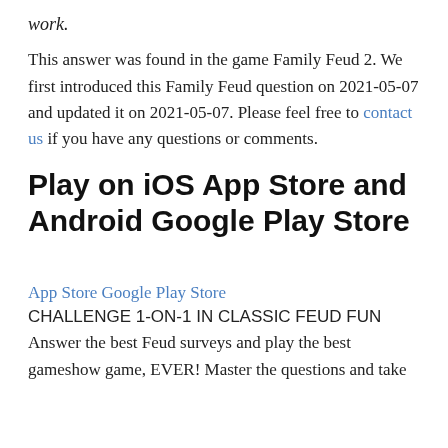work.
This answer was found in the game Family Feud 2. We first introduced this Family Feud question on 2021-05-07 and updated it on 2021-05-07. Please feel free to contact us if you have any questions or comments.
Play on iOS App Store and Android Google Play Store
App Store Google Play Store
CHALLENGE 1-ON-1 IN CLASSIC FEUD FUN
Answer the best Feud surveys and play the best gameshow game, EVER! Master the questions and take